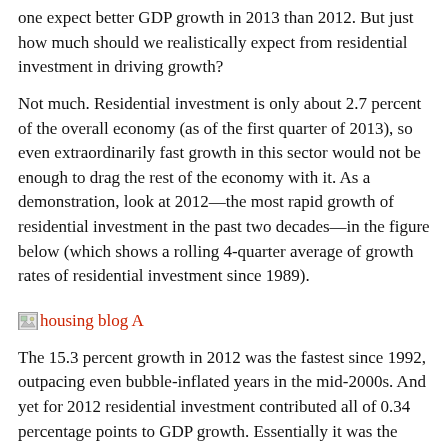one expect better GDP growth in 2013 than 2012. But just how much should we realistically expect from residential investment in driving growth?
Not much. Residential investment is only about 2.7 percent of the overall economy (as of the first quarter of 2013), so even extraordinarily fast growth in this sector would not be enough to drag the rest of the economy with it. As a demonstration, look at 2012—the most rapid growth of residential investment in the past two decades—in the figure below (which shows a rolling 4-quarter average of growth rates of residential investment since 1989).
[Figure (other): Broken image placeholder link labeled 'housing blog A']
The 15.3 percent growth in 2012 was the fastest since 1992, outpacing even bubble-inflated years in the mid-2000s. And yet for 2012 residential investment contributed all of 0.34 percentage points to GDP growth. Essentially it was the difference between